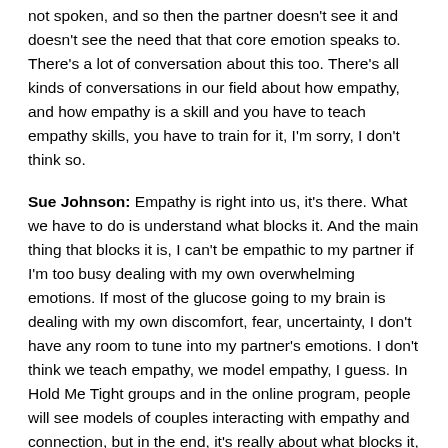not spoken, and so then the partner doesn't see it and doesn't see the need that that core emotion speaks to. There's a lot of conversation about this too. There's all kinds of conversations in our field about how empathy, and how empathy is a skill and you have to teach empathy skills, you have to train for it, I'm sorry, I don't think so.
Sue Johnson: Empathy is right into us, it's there. What we have to do is understand what blocks it. And the main thing that blocks it is, I can't be empathic to my partner if I'm too busy dealing with my own overwhelming emotions. If most of the glucose going to my brain is dealing with my own discomfort, fear, uncertainty, I don't have any room to tune into my partner's emotions. I don't think we teach empathy, we model empathy, I guess. In Hold Me Tight groups and in the online program, people will see models of couples interacting with empathy and connection, but in the end, it's really about what blocks it, how you put